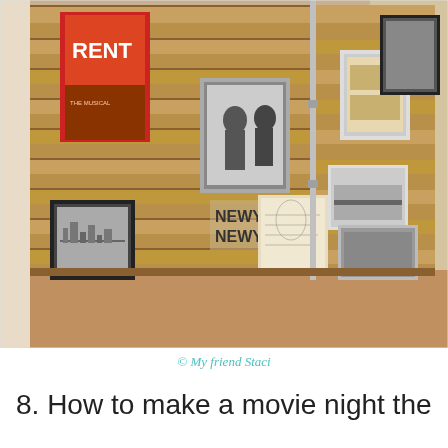[Figure (photo): Wooden pallet boards arranged as a display wall/room divider with various framed photos and posters attached, including a RENT musical poster, a New York New York sign, and several black and white photographs. The pallets are standing in what appears to be a living room with hardwood floors.]
© My friend Staci
8. How to make a movie night the